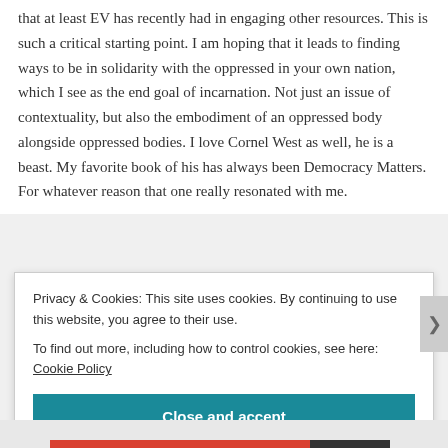that at least EV has recently had in engaging other resources. This is such a critical starting point. I am hoping that it leads to finding ways to be in solidarity with the oppressed in your own nation, which I see as the end goal of incarnation. Not just an issue of contextuality, but also the embodiment of an oppressed body alongside oppressed bodies. I love Cornel West as well, he is a beast. My favorite book of his has always been Democracy Matters. For whatever reason that one really resonated with me.
Privacy & Cookies: This site uses cookies. By continuing to use this website, you agree to their use.
To find out more, including how to control cookies, see here: Cookie Policy
Close and accept